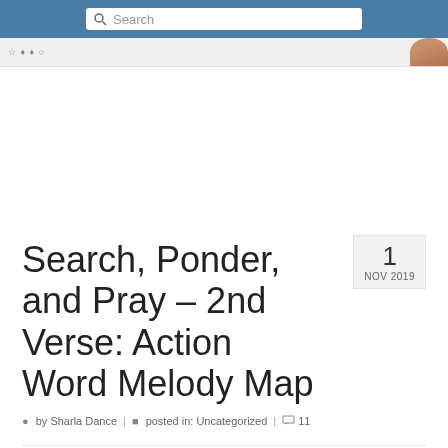Search
[Figure (screenshot): Browser navigation bar with profile picture thumbnail in top right]
Search, Ponder, and Pray – 2nd Verse: Action Word Melody Map
1 NOV 2019
by Sharla Dance | posted in: Uncategorized | 11
① Search, Ponder, and Pray